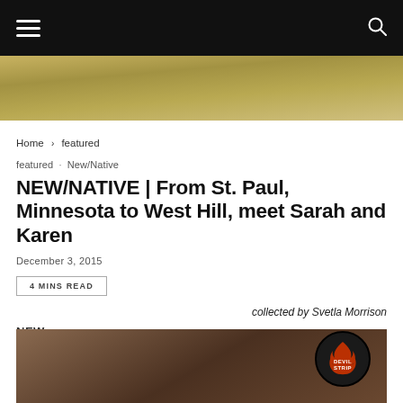Navigation bar with hamburger menu and search icon
[Figure (photo): Hero/banner strip showing a floor or pavement texture in warm yellow-tan tones]
Home › featured
featured · New/Native
NEW/NATIVE | From St. Paul, Minnesota to West Hill, meet Sarah and Karen
December 3, 2015
4 MINS READ
collected by Svetla Morrison
NEW
[Figure (photo): Photograph of a person with dark curly hair, partially visible; Devil Strip logo circle overlay in lower right]